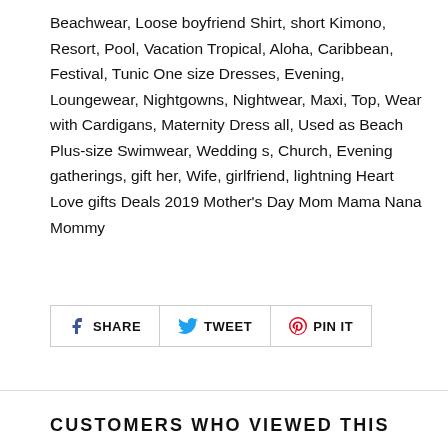Beachwear, Loose boyfriend Shirt, short Kimono, Resort, Pool, Vacation Tropical, Aloha, Caribbean, Festival, Tunic One size Dresses, Evening, Loungewear, Nightgowns, Nightwear, Maxi, Top, Wear with Cardigans, Maternity Dress all, Used as Beach Plus-size Swimwear, Wedding s, Church, Evening gatherings, gift her, Wife, girlfriend, lightning Heart Love gifts Deals 2019 Mother's Day Mom Mama Nana Mommy
SHARE TWEET PIN IT
CUSTOMERS WHO VIEWED THIS